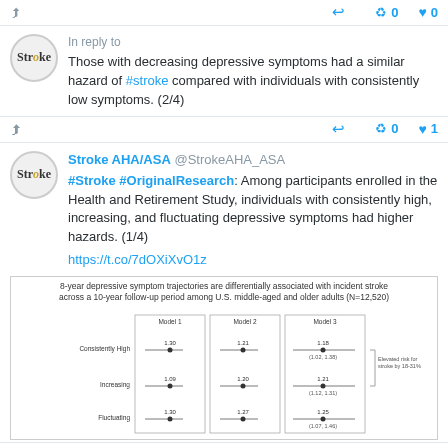Tweet actions: share, reply, retweet 0, like 0
In reply to
Those with decreasing depressive symptoms had a similar hazard of #stroke compared with individuals with consistently low symptoms. (2/4)
Tweet actions: share, reply, retweet 0, like 1
Stroke AHA/ASA @StrokeAHA_ASA
#Stroke #OriginalResearch: Among participants enrolled in the Health and Retirement Study, individuals with consistently high, increasing, and fluctuating depressive symptoms had higher hazards. (1/4)
https://t.co/7dOXiXvO1z
[Figure (other): Forest plot showing 8-year depressive symptom trajectories differentially associated with incident stroke across a 10-year follow-up period among U.S. middle-aged and older adults (N=12,520). Three models shown. Categories: Consistently High (1.30, 1.21, 1.18 [1.02,1.38]), Increasing (1.09, 1.20, 1.21 [1.12,1.31]), Fluctuating (1.30, 1.27, 1.25 [1.07,1.46]). Elevated risk for stroke by 18-31%.]